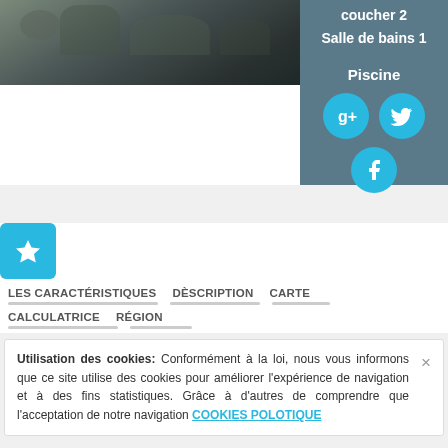[Figure (photo): Dark outdoor photo with trees/vegetation, partially visible at top of card]
coucher 2
Salle de bains 1
Piscine
[Figure (other): Social media icons: Google+, Twitter, Facebook in cyan circles]
[Figure (other): Blue star button (favorites)]
LES CARACTÉRISTIQUES   DÈSCRIPTION   CARTE   CALCULATRICE   RÉGION
Utilisation des cookies: Conformément à la loi, nous vous informons que ce site utilise des cookies pour améliorer l'expérience de navigation et à des fins statistiques. Grâce à d'autres de comprendre que l'acceptation de notre navigation COOKIES POLOTIQUE